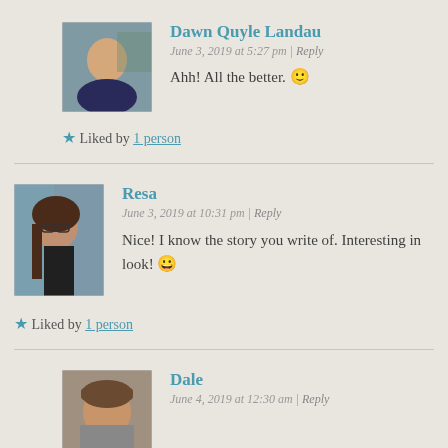[Figure (photo): Avatar photo of Dawn Quyle Landau, a woman with blonde hair in a blue sweater]
Dawn Quyle Landau
June 3, 2019 at 5:27 pm | Reply
Ahh! All the better. 🙂
★ Liked by 1 person
[Figure (photo): Avatar photo of Resa, a woman with long brown hair and glasses]
Resa
June 3, 2019 at 10:31 pm | Reply
Nice! I know the story you write of. Interesting in look! 😀
★ Liked by 1 person
[Figure (photo): Avatar photo of Dale, a woman with brown hair and bangs]
Dale
June 4, 2019 at 12:30 am | Reply